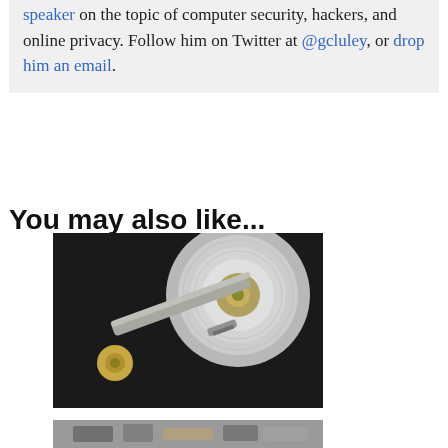speaker on the topic of computer security, hackers, and online privacy. Follow him on Twitter at @gcluley, or drop him an email.
You may also like...
[Figure (photo): Close-up photo of an open hard disk drive showing the read/write arm, platter, and actuator mechanism]
How to create a robust data backup plan (and make sure it works)
[Figure (photo): Partially visible photo at the bottom of the page, appears to show electronic components]